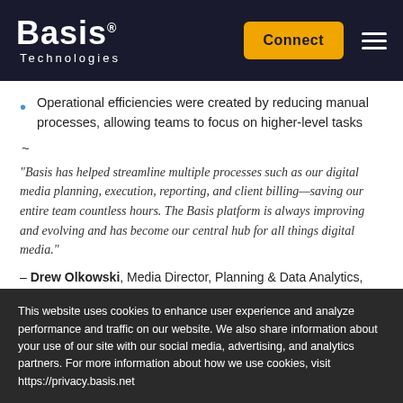[Figure (logo): Basis Technologies logo with white text on dark navy background, orange Connect button, and hamburger menu icon]
Operational efficiencies were created by reducing manual processes, allowing teams to focus on higher-level tasks
~
“Basis has helped streamline multiple processes such as our digital media planning, execution, reporting, and client billing—saving our entire team countless hours. The Basis platform is always improving and evolving and has become our central hub for all things digital media.”
– Drew Olkowski, Media Director, Planning & Data Analytics, Davis
This website uses cookies to enhance user experience and analyze performance and traffic on our website. We also share information about your use of our site with our social media, advertising, and analytics partners. For more information about how we use cookies, visit https://privacy.basis.net